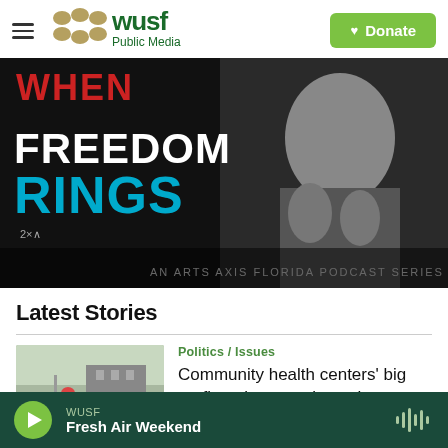WUSF Public Media — Donate
[Figure (illustration): WHEN FREEDOM RINGS — AN ARTS AXIS FLORIDA PODCAST SERIES promotional banner image with black and white photo of a person and bold graphic text]
Latest Stories
[Figure (photo): Outdoor photo of people walking near a building]
Politics / Issues
Community health centers' big profits raise questions about federal